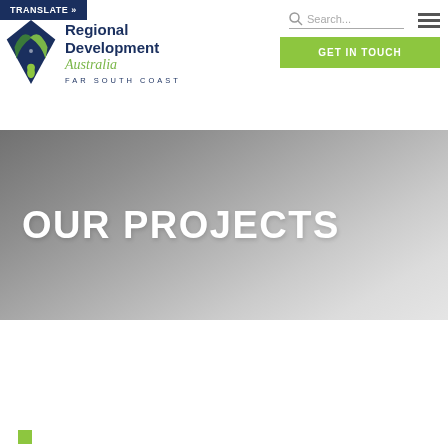[Figure (screenshot): Regional Development Australia Far South Coast website header with logo, search bar, hamburger menu, and GET IN TOUCH button]
OUR PROJECTS
[Figure (other): Small green square accent at bottom left of page]